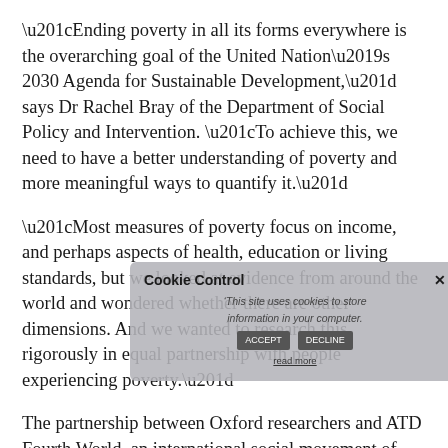“Ending poverty in all its forms everywhere is the overarching goal of the United Nation’s 2030 Agenda for Sustainable Development,” says Dr Rachel Bray of the Department of Social Policy and Intervention. “To achieve this, we need to have a better understanding of poverty and more meaningful ways to quantify it.”
“Most measures of poverty focus on income, and perhaps aspects of health, education or living standards, but we looked at evidence from around the world and wondered whether there are other dimensions. And we wanted to research this rigorously in equal partnership with people experiencing poverty.”
The partnership between Oxford researchers and ATD Fourth World, an international social movement of people with direct experience of poverty, supported a three-year study in six contrasting countries (Bangladesh, Bolivia, France, Tanzania, the UK and the US). The partners worked to identify dimensions of...